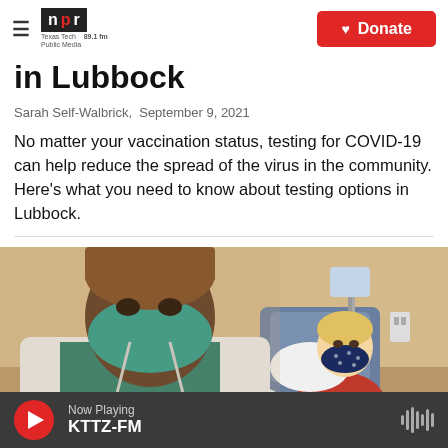NPR — Texas Tech Public Media 89.1 fm | Donate
in Lubbock
Sarah Self-Walbrick,  September 9, 2021
No matter your vaccination status, testing for COVID-19 can help reduce the spread of the virus in the community. Here's what you need to know about testing options in Lubbock.
[Figure (photo): A healthcare worker in a white coat and teal surgical mask stands in the foreground while a patient wearing a navy blue polka-dot mask sits in a medical chair in the background.]
Now Playing KTTZ-FM